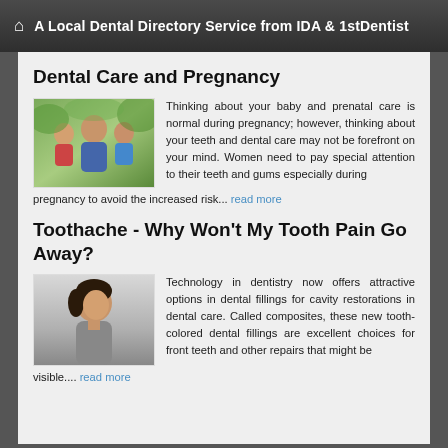A Local Dental Directory Service from IDA & 1stDentist
Dental Care and Pregnancy
[Figure (photo): Photo of a family with a mother and children outdoors with green background]
Thinking about your baby and prenatal care is normal during pregnancy; however, thinking about your teeth and dental care may not be forefront on your mind. Women need to pay special attention to their teeth and gums especially during pregnancy to avoid the increased risk... read more
Toothache - Why Won't My Tooth Pain Go Away?
[Figure (photo): Photo of a woman looking upward with dark hair against a light background]
Technology in dentistry now offers attractive options in dental fillings for cavity restorations in dental care. Called composites, these new tooth-colored dental fillings are excellent choices for front teeth and other repairs that might be visible.... read more